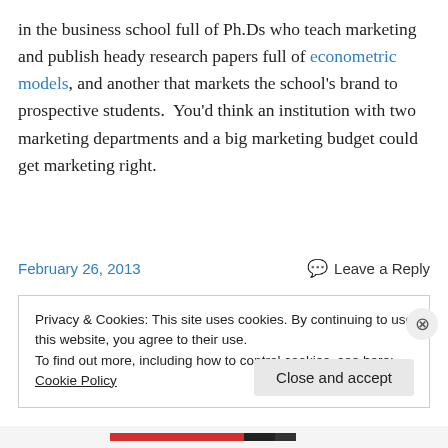in the business school full of Ph.Ds who teach marketing and publish heady research papers full of econometric models, and another that markets the school's brand to prospective students.  You'd think an institution with two marketing departments and a big marketing budget could get marketing right.
February 26, 2013
Leave a Reply
Privacy & Cookies: This site uses cookies. By continuing to use this website, you agree to their use.
To find out more, including how to control cookies, see here: Cookie Policy